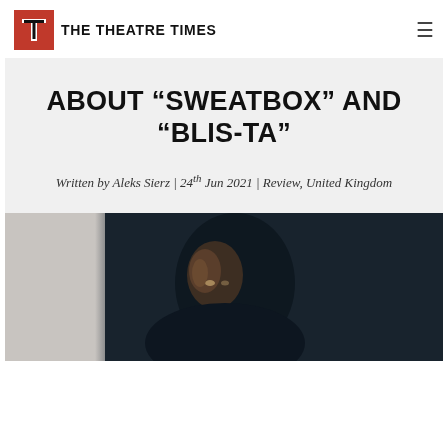THE THEATRE TIMES
ABOUT “SWEATBOX” AND “BLIS-TA”
Written by Aleks Sierz | 24th Jun 2021 | Review, United Kingdom
[Figure (photo): Dark dramatic photo of a person (appears to be a Black individual) partially lit, looking upward, against a dark teal/navy background. The left portion shows a lighter grey wall or doorframe.]